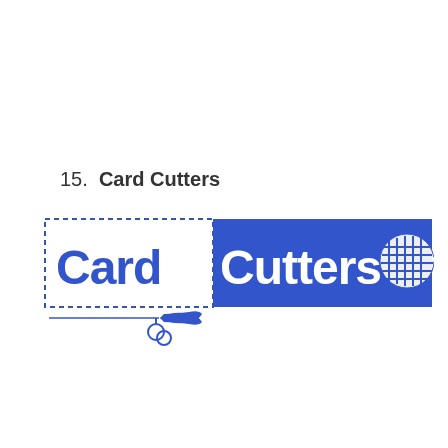15.  Card Cutters
[Figure (logo): Card Cutters logo: left portion shows 'Card' in bold blue text on white background with a dashed border and blue scissors icon below-left; right portion shows 'Cutters' in bold white text on a blue rectangle background with a white chip/coin icon and rotated text 'SHOP' on the right side.]